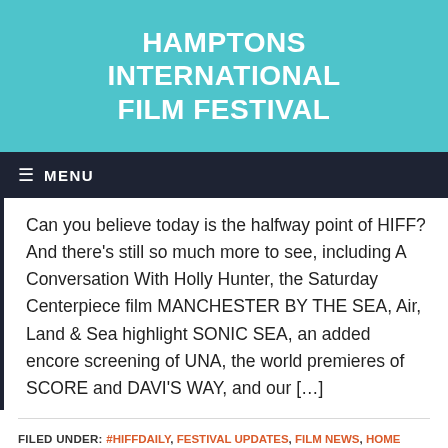HAMPTONS INTERNATIONAL FILM FESTIVAL
≡  MENU
Can you believe today is the halfway point of HIFF? And there's still so much more to see, including A Conversation With Holly Hunter, the Saturday Centerpiece film MANCHESTER BY THE SEA, Air, Land & Sea highlight SONIC SEA, an added encore screening of UNA, the world premieres of SCORE and DAVI'S WAY, and our […]
FILED UNDER: #HIFFDAILY, FESTIVAL UPDATES, FILM NEWS, HOME PAGE FEATURE
TAGGED WITH: DAVI'S WAY, DISTURBING THE PEACE, HIFF 2016, HOLLY HUNTER, MANCHESTER BY THE SEA, SATURDAY, SCORE, SONIC SEA